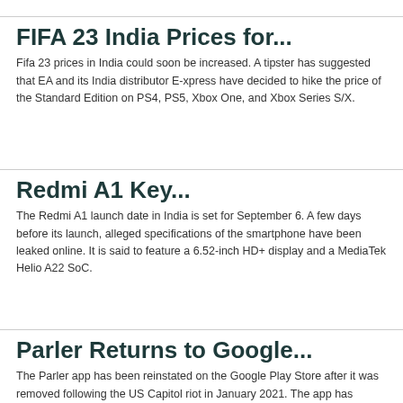FIFA 23 India Prices for...
Fifa 23 prices in India could soon be increased. A tipster has suggested that EA and its India distributor E-xpress have decided to hike the price of the Standard Edition on PS4, PS5, Xbox One, and Xbox Series S/X.
Redmi A1 Key...
The Redmi A1 launch date in India is set for September 6. A few days before its launch, alleged specifications of the smartphone have been leaked online. It is said to feature a 6.52-inch HD+ display and a MediaTek Helio A22 SoC.
Parler Returns to Google...
The Parler app has been reinstated on the Google Play Store after it was removed following the US Capitol riot in January 2021. The app has...